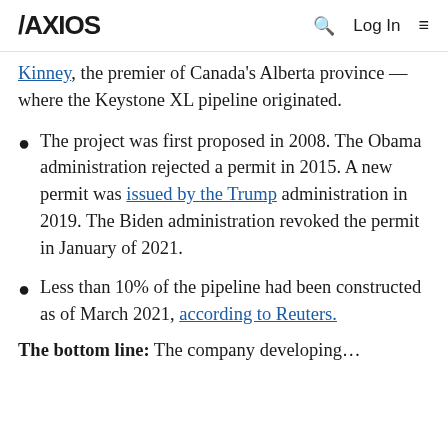AXIOS | Q | Log In | ≡
Kinney, the premier of Canada's Alberta province — where the Keystone XL pipeline originated.
The project was first proposed in 2008. The Obama administration rejected a permit in 2015. A new permit was issued by the Trump administration in 2019. The Biden administration revoked the permit in January of 2021.
Less than 10% of the pipeline had been constructed as of March 2021, according to Reuters.
The bottom line: The company developing…